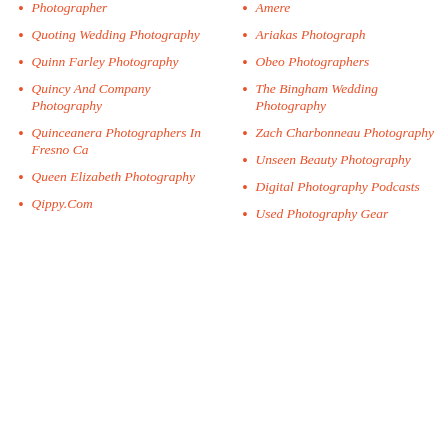Photographer
Quoting Wedding Photography
Quinn Farley Photography
Quincy And Company Photography
Quinceanera Photographers In Fresno Ca
Queen Elizabeth Photography
Qippy.Com
Amere
Ariakas Photograph
Obeo Photographers
The Bingham Wedding Photography
Zach Charbonneau Photography
Unseen Beauty Photography
Digital Photography Podcasts
Used Photography Gear